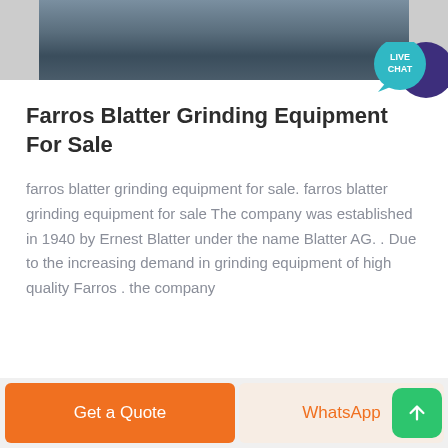[Figure (photo): Partial view of industrial grinding equipment, dark metallic colors]
Farros Blatter Grinding Equipment For Sale
farros blatter grinding equipment for sale. farros blatter grinding equipment for sale The company was established in 1940 by Ernest Blatter under the name Blatter AG. . Due to the increasing demand in grinding equipment of high quality Farros . the company
[Figure (illustration): Live Chat speech bubble icon in teal and purple]
Get a Quote   WhatsApp